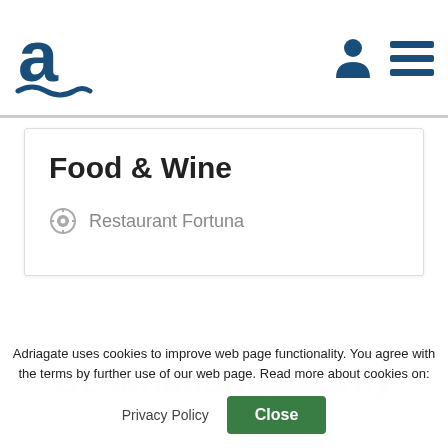Adriagate logo with navigation icons
Food & Wine
Restaurant Fortuna
[Figure (other): Destinations Nearby watermark text in light gray]
Adriagate uses cookies to improve web page functionality. You agree with the terms by further use of our web page. Read more about cookies on:
Privacy Policy | Close